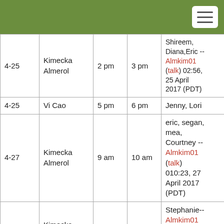| Date | Tutor | Start | End | Notes |
| --- | --- | --- | --- | --- |
| 4-25 | Kimecka Almerol | 2 pm | 3 pm | Shireem, Diana,Eric -- Almkim01 (talk) 02:56, 25 April 2017 (PDT) |
| 4-25 | Vi Cao | 5 pm | 6 pm | Jenny, Lori |
| 4-27 | Kimecka Almerol | 9 am | 10 am | eric, segan, mea, Courtney -- Almkim01 (talk) 010:23, 27 April 2017 (PDT) |
| 4-27 | Kimecka Almerol | 2 pm | 3 pm | Stephanie-- Almkim01 (talk) 04:00, 27 April 2017 (PDT) |